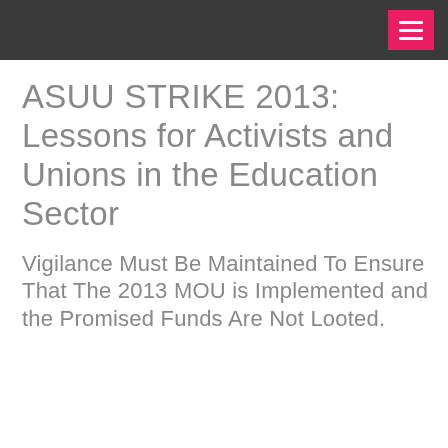ASUU STRIKE 2013: Lessons for Activists and Unions in the Education Sector
Vigilance Must Be Maintained To Ensure That The 2013 MOU is Implemented and the Promised Funds Are Not Looted.